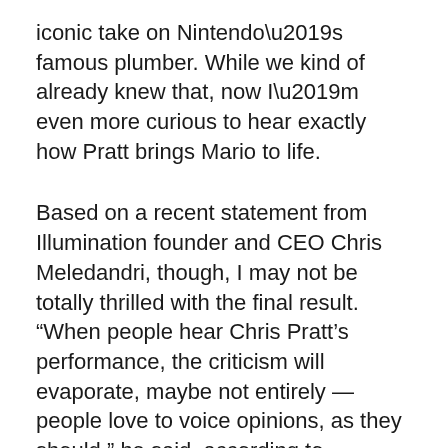iconic take on Nintendo’s famous plumber. While we kind of already knew that, now I’m even more curious to hear exactly how Pratt brings Mario to life.
Based on a recent statement from Illumination founder and CEO Chris Meledandri, though, I may not be totally thrilled with the final result. “When people hear Chris Pratt’s performance, the criticism will evaporate, maybe not entirely — people love to voice opinions, as they should,” he said, according to Deadline. Whenever we do finally hear Pratt’s interpretation of Mario, I — and I assume literally every other Twitter user — will almost certainly voice an opinion.